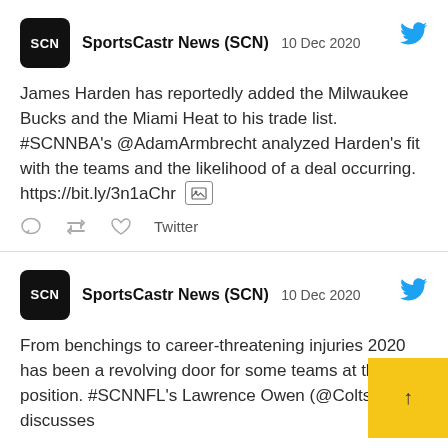SportsCastr News (SCN)  10 Dec 2020
James Harden has reportedly added the Milwaukee Bucks and the Miami Heat to his trade list. #SCNNBA's @AdamArmbrecht analyzed Harden's fit with the teams and the likelihood of a deal occurring. https://bit.ly/3n1aChr
Twitter
SportsCastr News (SCN)  10 Dec 2020
From benchings to career-threatening injuries 2020 has been a revolving door for some teams at the QB position. #SCNNFL's Lawrence Owen (@Colts_Law) discusses